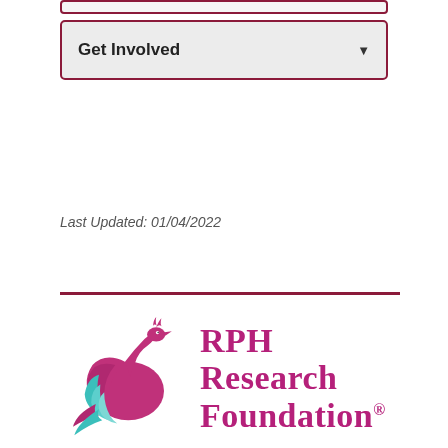Get Involved
Last Updated: 01/04/2022
[Figure (logo): RPH Research Foundation logo with stylized magenta and teal swan/phoenix bird graphic and text 'RPH Research Foundation']